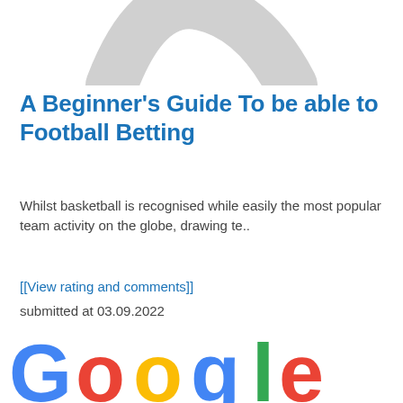[Figure (logo): Partial arc/swoosh logo in light gray, cropped at top of page]
A Beginner's Guide To be able to Football Betting
Whilst basketball is recognised while easily the most popular team activity on the globe, drawing te..
[[View rating and comments]]
submitted at 03.09.2022
[Figure (logo): Google logo partially visible, showing colorful letters G-o-o-g-l-e in blue, red, yellow, blue, green, red]